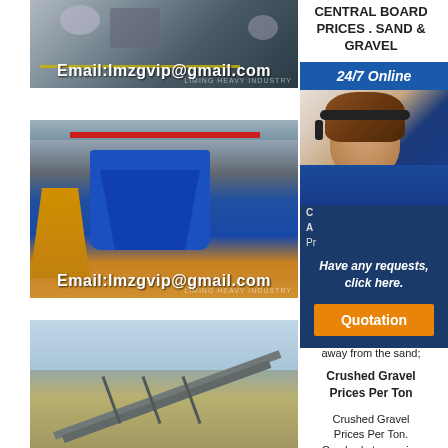[Figure (photo): Industrial machinery in a factory, with Email:lmzgvip@gmail.com overlay]
[Figure (photo): Blue crushing machine in industrial warehouse with yellow cone crusher, Email:lmzgvip@gmail.com overlay]
[Figure (photo): Industrial conveyor belt system outdoors]
CENTRAL BOARD PRICES . SAND & GRAVEL
[Figure (infographic): 24/7 Online chat widget with female agent wearing headset, Have any requests, click here. button and Quotation button]
away from the sand;
Crushed Gravel Prices Per Ton
Crushed Gravel Prices Per Ton. Crushed stone price